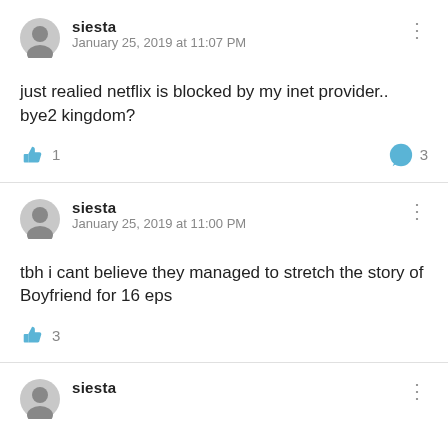siesta
January 25, 2019 at 11:07 PM
just realied netflix is blocked by my inet provider.. bye2 kingdom?
1  3
siesta
January 25, 2019 at 11:00 PM
tbh i cant believe they managed to stretch the story of Boyfriend for 16 eps
3
siesta